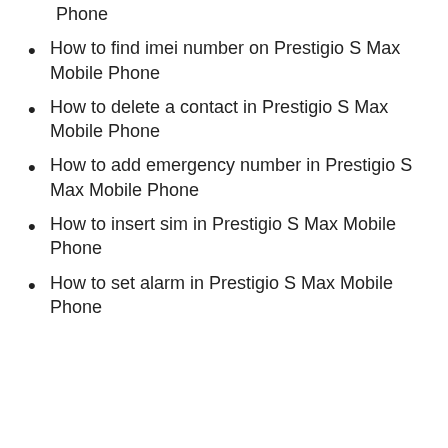Phone
How to find imei number on Prestigio S Max Mobile Phone
How to delete a contact in Prestigio S Max Mobile Phone
How to add emergency number in Prestigio S Max Mobile Phone
How to insert sim in Prestigio S Max Mobile Phone
How to set alarm in Prestigio S Max Mobile Phone